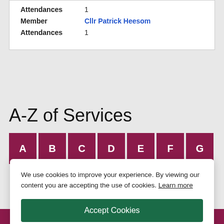Attendances   1
Member   Cllr Patrick Heesom
Attendances   1
A-Z of Services
[Figure (infographic): A row of dark maroon/purple square buttons labeled A, B, C, D, E, F, G for alphabetical navigation of services]
We use cookies to improve your experience. By viewing our content you are accepting the use of cookies. Learn more
Accept Cookies